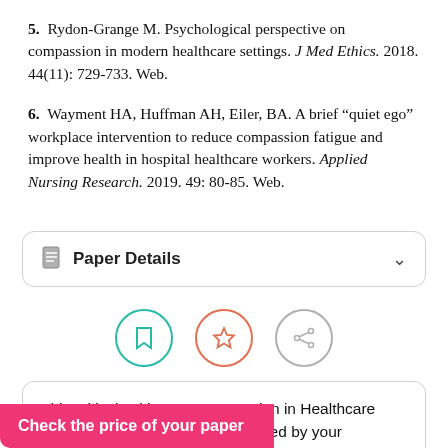5. Rydon-Grange M. Psychological perspective on compassion in modern healthcare settings. J Med Ethics. 2018. 44(11): 729-733. Web.
6. Wayment HA, Huffman AH, Eiler, BA. A brief “quiet ego” workplace intervention to reduce compassion fatigue and improve health in hospital healthcare workers. Applied Nursing Research. 2019. 49: 80-85. Web.
Paper Details
[Figure (infographic): Three circular icon buttons in a row: a teal bookmark icon, an orange star icon, and a gray share/network icon.]
This critical writing on Compassion in Healthcare ... tted by your ... use it for research